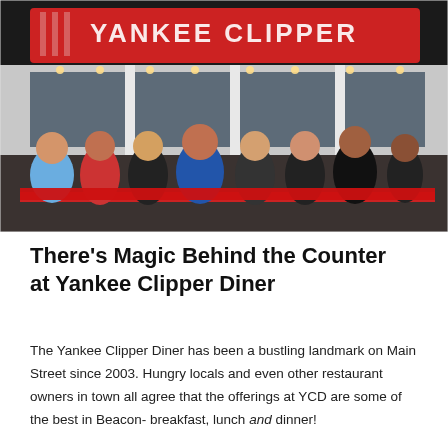[Figure (photo): Group of eight people standing in front of the Yankee Clipper Diner, posing behind a red ribbon. The diner sign is visible above with red lettering. The staff are smiling.]
There's Magic Behind the Counter at Yankee Clipper Diner
The Yankee Clipper Diner has been a bustling landmark on Main Street since 2003. Hungry locals and even other restaurant owners in town all agree that the offerings at YCD are some of the best in Beacon- breakfast, lunch and dinner!